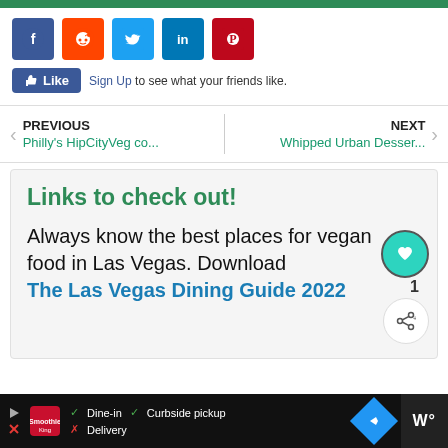[Figure (screenshot): Social media share buttons: Facebook (blue), Reddit (orange), Twitter (blue), LinkedIn (blue), Pinterest (red)]
[Figure (screenshot): Facebook Like button with 'Sign Up to see what your friends like.' text]
PREVIOUS Philly's HipCityVeg co... | NEXT Whipped Urban Desser...
Links to check out!
Always know the best places for vegan food in Las Vegas. Download The Las Vegas Dining Guide 2022
[Figure (screenshot): Bottom advertisement bar with Smoothie King logo, Dine-in, Curbside pickup, Delivery options, a blue arrow logo, and a dark section with W logo]